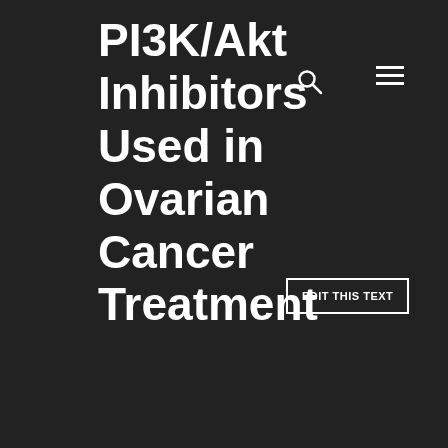PI3K/Akt Inhibitors Used in Ovarian Cancer Treatment
[Figure (other): Search icon (magnifying glass) in navigation bar]
[Figure (other): Hamburger menu icon in navigation bar]
EDIT THIS TEXT
fatal respiratory failure evolving over a few months [27]. Additionally, some patients have gradual progression over years, followed by acute exacerbations, associated with abrupt and often fatal hypoxemic respiratory failure [26, 28]. Spontaneous remissions do not occur [2, 6]. Ten-year survival is less than 15% [2, 6, 23, 24, 29,